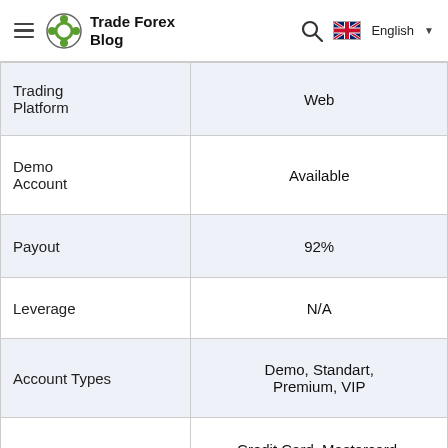Trade Forex Blog | English
| Feature | Value |
| --- | --- |
| Trading Platform | Web |
| Demo Account | Available |
| Payout | 92% |
| Leverage | N/A |
| Account Types | Demo, Standart, Premium, VIP |
| Deposit Methods | Credit Card, Mastercard, Neteller, QIWI, Skrill, Visa, Webmoney |